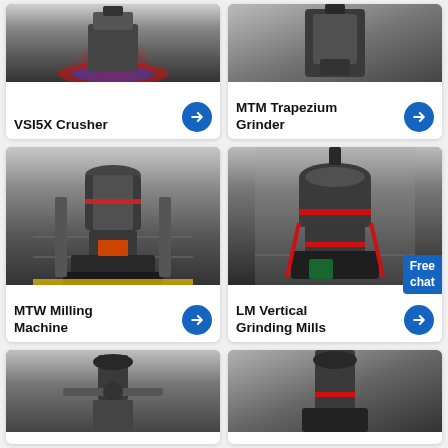[Figure (photo): VSI5X Crusher machine photo — partially visible at top of card]
VSI5X Crusher
[Figure (photo): MTM Trapezium Grinder machine photo — partially visible at top of card]
MTM Trapezium Grinder
[Figure (photo): MTW Milling Machine in factory hall]
MTW Milling Machine
[Figure (photo): LM Vertical Grinding Mills in factory hall with Free chat badge]
LM Vertical Grinding Mills
[Figure (photo): Industrial machine photo — bottom card left, partially visible]
[Figure (photo): Industrial machine photo — bottom card right, partially visible]